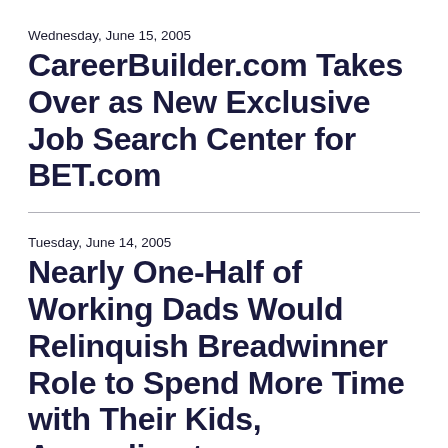Wednesday, June 15, 2005
CareerBuilder.com Takes Over as New Exclusive Job Search Center for BET.com
Tuesday, June 14, 2005
Nearly One-Half of Working Dads Would Relinquish Breadwinner Role to Spend More Time with Their Kids, According to